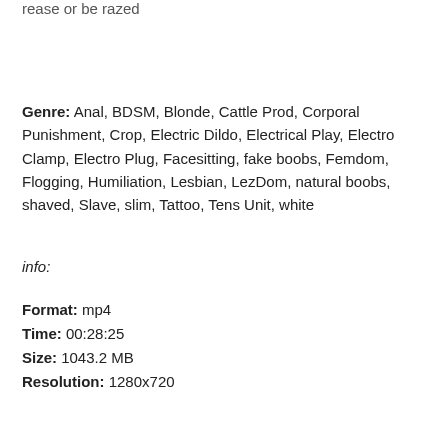rease or be razed
Genre: Anal, BDSM, Blonde, Cattle Prod, Corporal Punishment, Crop, Electric Dildo, Electrical Play, Electro Clamp, Electro Plug, Facesitting, fake boobs, Femdom, Flogging, Humiliation, Lesbian, LezDom, natural boobs, shaved, Slave, slim, Tattoo, Tens Unit, white
info:
Format: mp4
Time: 00:28:25
Size: 1043.2 MB
Resolution: 1280x720